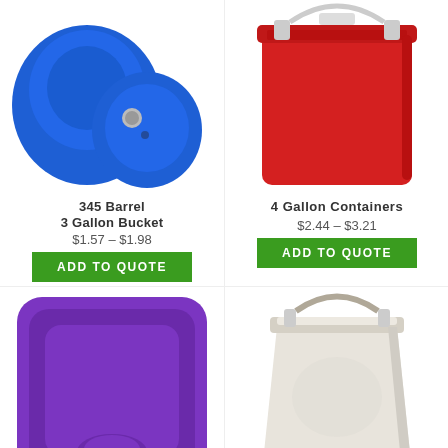[Figure (photo): Blue plastic barrel/drum with lid, viewed from above]
[Figure (photo): Red 4-gallon square plastic bucket with metal handle]
3 Gallon Bucket
$1.57 – $1.98
ADD TO QUOTE
4 Gallon Containers
$2.44 – $3.21
ADD TO QUOTE
[Figure (photo): Purple square plastic lid/container top]
[Figure (photo): White 5-gallon plastic bucket with metal handle]